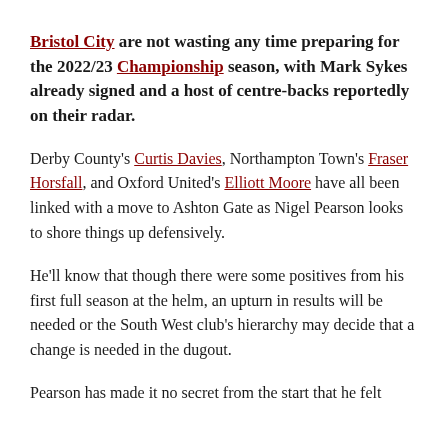Bristol City are not wasting any time preparing for the 2022/23 Championship season, with Mark Sykes already signed and a host of centre-backs reportedly on their radar.
Derby County's Curtis Davies, Northampton Town's Fraser Horsfall, and Oxford United's Elliott Moore have all been linked with a move to Ashton Gate as Nigel Pearson looks to shore things up defensively.
He'll know that though there were some positives from his first full season at the helm, an upturn in results will be needed or the South West club's hierarchy may decide that a change is needed in the dugout.
Pearson has made it no secret from the start that he felt